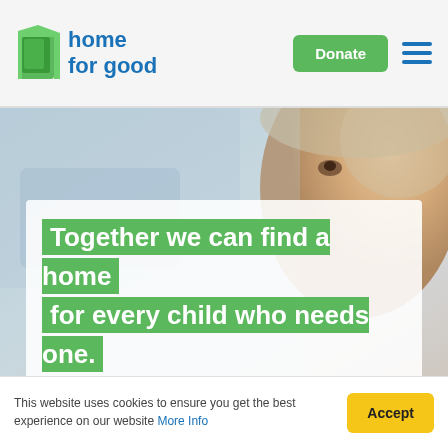[Figure (logo): Home for Good logo with green door icon and blue text]
Donate
[Figure (screenshot): Hero background image showing blurred child face]
Together we can find a home for every child who needs one.
Give Once
Give Monthly
This website uses cookies to ensure you get the best experience on our website More Info
Accept